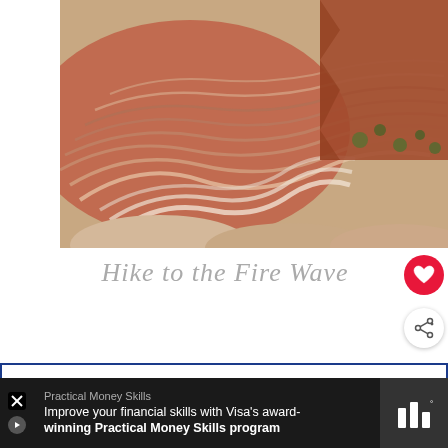[Figure (photo): Aerial or close-up view of Fire Wave rock formation in Nevada, showing swirling red and white sandstone layers with desert scrub in the background]
Hike to the Fire Wave
WHAT'S NEXT → Camping In And Around...
From Hello to Help, 211 is H...
Practical Money Skills
Improve your financial skills with Visa's award-winning Practical Money Skills program